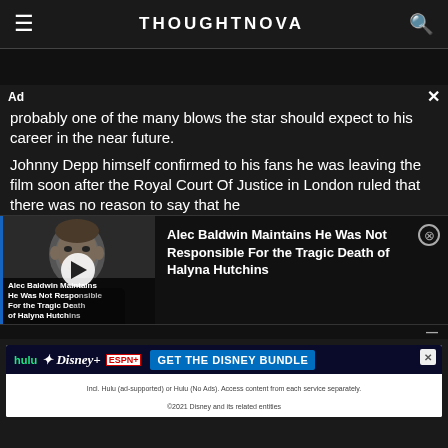THOUGHTNOVA
probably one of the many blows the star should expect to his career in the near future.
Johnny Depp himself confirmed to his fans he was leaving the film soon after the Royal Court Of Justice in London ruled that there was no reason to say that he
[Figure (screenshot): Video thumbnail card showing Alec Baldwin with play button overlay, with caption text reading 'Alec Baldwin Maintains He Was Not Responsible For the Tragic Death of Halyna Hutchins']
Alec Baldwin Maintains He Was Not Responsible For the Tragic Death of Halyna Hutchins
[Figure (screenshot): Disney Bundle advertisement banner showing Hulu, Disney+, ESPN+ logos with 'GET THE DISNEY BUNDLE' button and fine print]